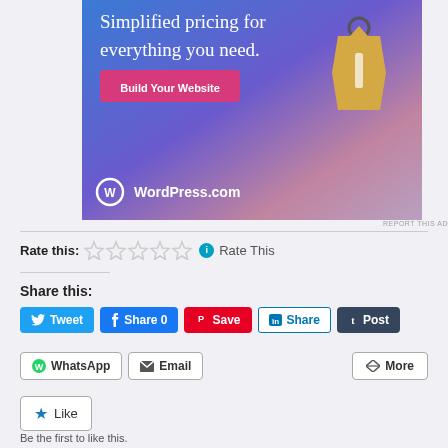[Figure (illustration): WordPress.com advertisement banner with gradient blue-purple-pink background, text 'Simplified pricing for everything you need.', a pink 'Build Your Website' button, a 3D price tag graphic, and the WordPress.com logo at the bottom.]
REPORT THIS AD
Rate this: ☆☆☆☆☆ ℹ Rate This
Share this:
Tweet
Share 0
Save
Share
Post
WhatsApp
Email
More
Like
Be the first to like this.